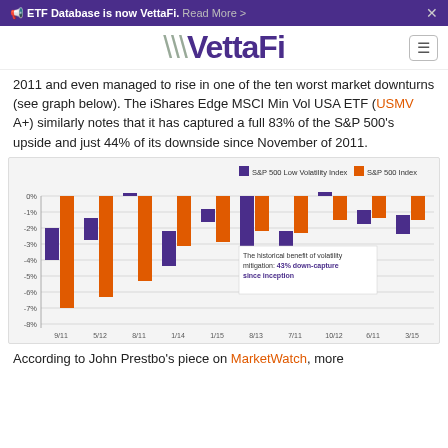ETF Database is now VettaFi. Read More >
[Figure (logo): VettaFi logo with stylized V and menu button]
2011 and even managed to rise in one of the ten worst market downturns (see graph below). The iShares Edge MSCI Min Vol USA ETF (USMV A+) similarly notes that it has captured a full 83% of the S&P 500's upside and just 44% of its downside since November of 2011.
[Figure (bar-chart): Return (%)]
According to John Prestbo's piece on MarketWatch, more